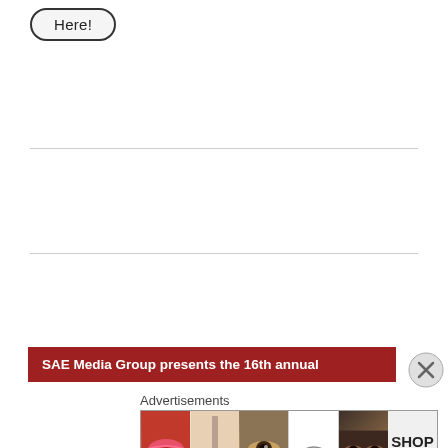[Figure (other): A pill/rounded-rectangle button with text 'Here!']
[Figure (other): Banner advertisement: 'SAE Media Group presents the 16th annual' in white text on dark red background]
[Figure (other): Close/dismiss button (X in circle) top right]
Advertisements
[Figure (other): Advertisement strip showing beauty/makeup images: lips with lipstick, makeup brush, eye with makeup, ULTA Beauty logo, smoky eye makeup, and SHOP NOW button]